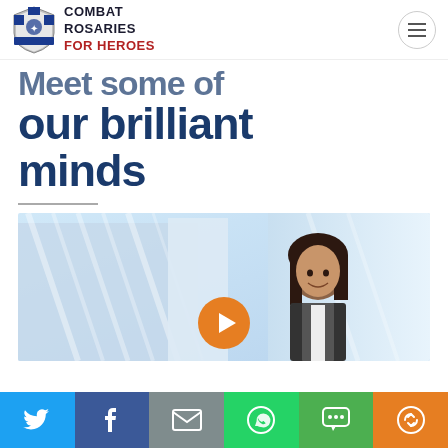Combat Rosaries for Heroes
Meet some of our brilliant minds
[Figure (photo): A smiling young woman in business attire in front of modern glass buildings, with an orange play button overlay — a video thumbnail]
Social share bar: Twitter, Facebook, Email, WhatsApp, SMS, Share